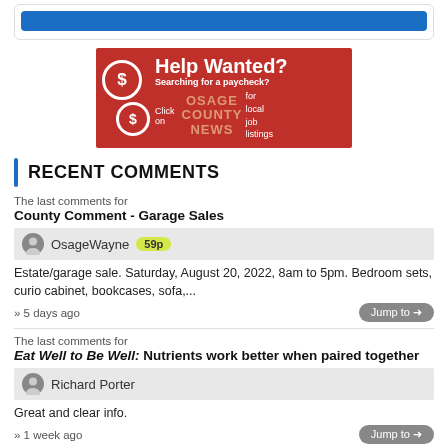[Figure (other): Blue button banner inside a card]
[Figure (other): Red Help Wanted advertisement banner for Osage County News job listings]
RECENT COMMENTS
The last comments for
County Comment - Garage Sales
OsageWayne 59p
Estate/garage sale. Saturday, August 20, 2022, 8am to 5pm. Bedroom sets, curio cabinet, bookcases, sofa,...
» 5 days ago
The last comments for
Eat Well to Be Well: Nutrients work better when paired together
Richard Porter
Great and clear info.
» 1 week ago
The last comments for
Dale 'Porky' Devin, 67, Michigan Valley: Sept. 22, 1954 - Aug. 9,